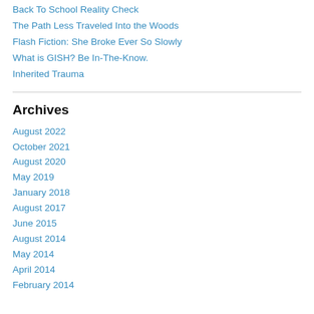Back To School Reality Check
The Path Less Traveled Into the Woods
Flash Fiction: She Broke Ever So Slowly
What is GISH? Be In-The-Know.
Inherited Trauma
Archives
August 2022
October 2021
August 2020
May 2019
January 2018
August 2017
June 2015
August 2014
May 2014
April 2014
February 2014